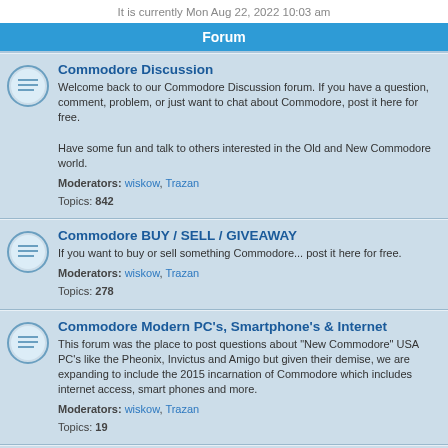It is currently Mon Aug 22, 2022 10:03 am
Forum
Commodore Discussion
Welcome back to our Commodore Discussion forum. If you have a question, comment, problem, or just want to chat about Commodore, post it here for free.
Have some fun and talk to others interested in the Old and New Commodore world.
Moderators: wiskow, Trazan
Topics: 842
Commodore BUY / SELL / GIVEAWAY
If you want to buy or sell something Commodore... post it here for free.
Moderators: wiskow, Trazan
Topics: 278
Commodore Modern PC's, Smartphone's & Internet
This forum was the place to post questions about "New Commodore" USA PC's like the Pheonix, Invictus and Amigo but given their demise, we are expanding to include the 2015 incarnation of Commodore which includes internet access, smart phones and more.
Moderators: wiskow, Trazan
Topics: 19
Commodore Events - Both Old and New C=
The place to discuss Commodore events, trade shows, gatherings... . This forum welcomes contect regarding Classic Commodore and the new 2006 Commodore.
Moderators: wiskow, Trazan
Topics: 216